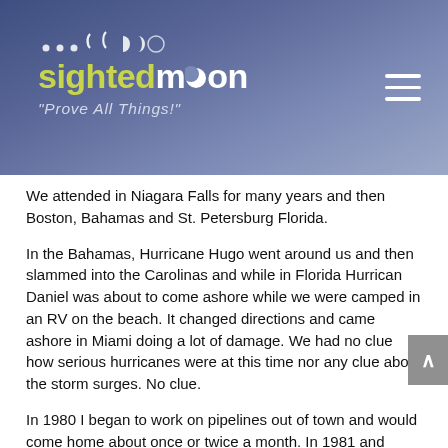sightedmoon "Prove All Things!"
We attended in Niagara Falls for many years and then Boston, Bahamas and St. Petersburg Florida.
In the Bahamas, Hurricane Hugo went around us and then slammed into the Carolinas and while in Florida Hurrican Daniel was about to come ashore while we were camped in an RV on the beach. It changed directions and came ashore in Miami doing a lot of damage. We had no clue how serious hurricanes were at this time nor any clue about the storm surges. No clue.
In 1980 I began to work on pipelines out of town and would come home about once or twice a month. In 1981 and again in 1982 we had our first Daughter and then our first son. Our second son would not arrive until 1990.
We bought our first house in 1981 and even though we paid it off in just 5 years Barbara and I fought over the amount of money I was tithing or spending on the Feasts each year. But I tithed faithfully to the church at this time and to ourselves for the